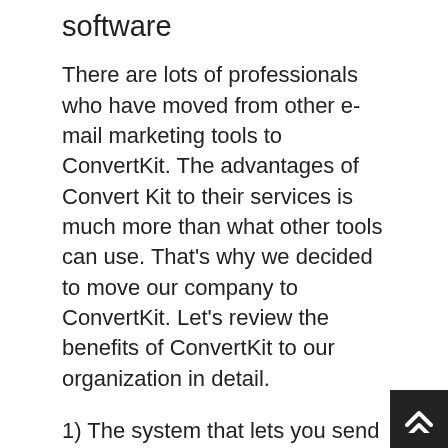software
There are lots of professionals who have moved from other e-mail marketing tools to ConvertKit. The advantages of Convert Kit to their services is much more than what other tools can use. That's why we decided to move our company to ConvertKit. Let's review the benefits of ConvertKit to our organization in detail.
1) The system that lets you send your mail to just those who have actually particularly agreed to receive it. This is called tag-based email. With this technique, you can personalize your messages to your subscribers and make more earnings. You can likewise utilize tags to segment your e-mail list based upon interests, and so on. People can do things without telling you what they want. The best method to find out what they desire is to look at ho... ll...